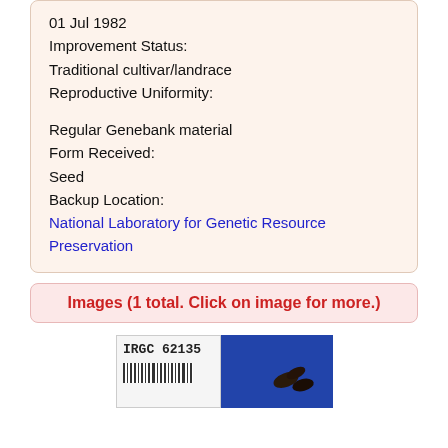01 Jul 1982
Improvement Status:
Traditional cultivar/landrace
Reproductive Uniformity:

Regular Genebank material
Form Received:
Seed
Backup Location:
National Laboratory for Genetic Resource Preservation
Images (1 total. Click on image for more.)
[Figure (photo): A label card showing 'IRGC 62135' with a barcode on the left half, and seeds photographed against a blue background on the right half.]